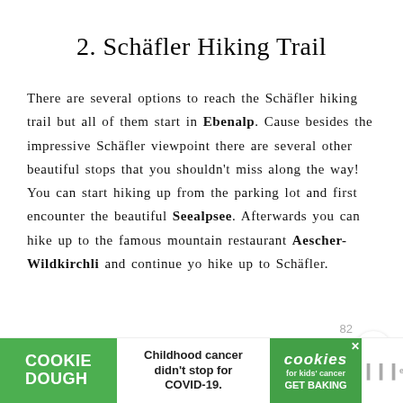2. Schäfler Hiking Trail
There are several options to reach the Schäfler hiking trail but all of them start in Ebenalp. Cause besides the impressive Schäfler viewpoint there are several other beautiful stops that you shouldn't miss along the way! You can start hiking up from the parking lot and first encounter the beautiful Seealpsee. Afterwards you can hike up to the famous mountain restaurant Aescher-Wildkirchli and continue yo hike up to Schäfler.
[Figure (screenshot): Advertisement banner: Cookie Dough brand ad promoting childhood cancer awareness with 'Childhood cancer didn't stop for COVID-19. GET BAKING' text and cookies for kids' cancer logo.]